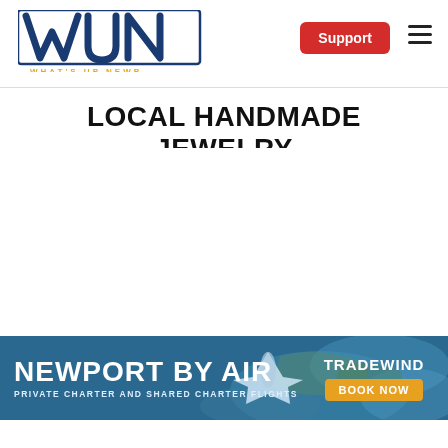[Figure (logo): WUN - What's Up Newp logo with navy blue block letters and gold tagline, with Support button and hamburger menu]
LOCAL HANDMADE JEWELRY
[Figure (infographic): Newport By Air advertisement banner - aerial photo background with text NEWPORT BY AIR, PRIVATE CHARTER AND SHARED CHARTER FLIGHTS, TRADEWIND logo and BOOK NOW button]